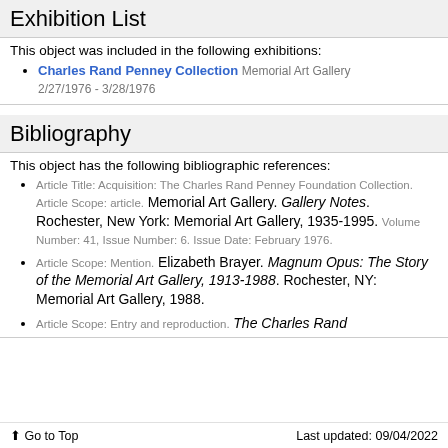Exhibition List
This object was included in the following exhibitions:
Charles Rand Penney Collection Memorial Art Gallery 2/27/1976 - 3/28/1976
Bibliography
This object has the following bibliographic references:
Article Title: Acquisition: The Charles Rand Penney Foundation Collection. Article Scope: article. Memorial Art Gallery. Gallery Notes. Rochester, New York: Memorial Art Gallery, 1935-1995. Volume Number: 41, Issue Number: 6. Issue Date: February 1976.
Article Scope: Mention. Elizabeth Brayer. Magnum Opus: The Story of the Memorial Art Gallery, 1913-1988. Rochester, NY: Memorial Art Gallery, 1988.
Article Scope: Entry and reproduction. The Charles Rand
Go to Top   Last updated: 09/04/2022